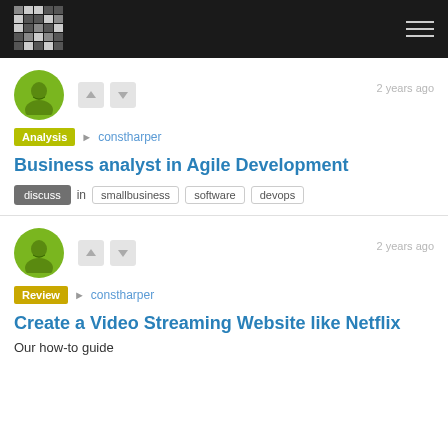Site header with logo and navigation
2 years ago
Analysis ▶ constharper
Business analyst in Agile Development
discuss in smallbusiness software devops
2 years ago
Review ▶ constharper
Create a Video Streaming Website like Netflix
Our how-to guide